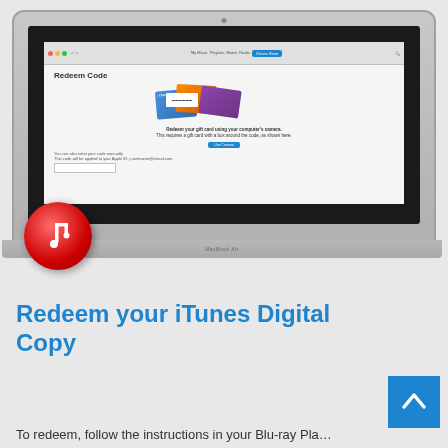[Figure (screenshot): MacBook Air laptop displaying iTunes Store Redeem Code page with gift cards in blue, orange, and purple. iTunes red music note icon overlaid at bottom-left of laptop. Screen shows 'Redeem Code' heading, gift card images with barcode, camera redemption option, and manual code entry field.]
Redeem your iTunes Digital Copy
To redeem, follow the instructions in your Blu-ray Pla...